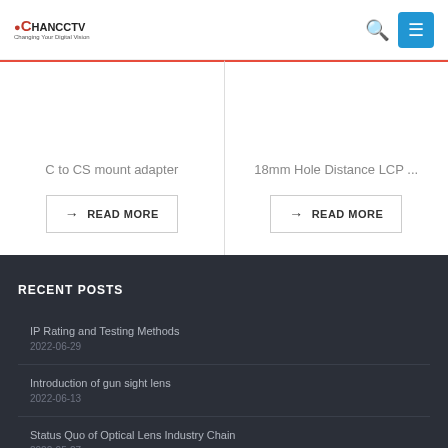CHANCCTV
C to CS mount adapter
→ READ MORE
18mm Hole Distance LCP ...
→ READ MORE
RECENT POSTS
IP Rating and Testing Methods
2022-06-29
Introduction of gun sight lens
2022-06-13
Status Quo of Optical Lens Industry Chain
2022-05-27